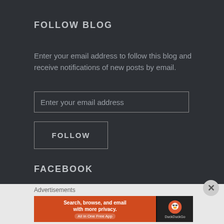FOLLOW BLOG
Enter your email address to follow this blog and receive notifications of new posts by email.
Enter your email address
FOLLOW
FACEBOOK
Advertisements
[Figure (screenshot): DuckDuckGo advertisement banner: 'Search, browse, and email with more privacy. All in One Free App' with DuckDuckGo logo on dark right panel]